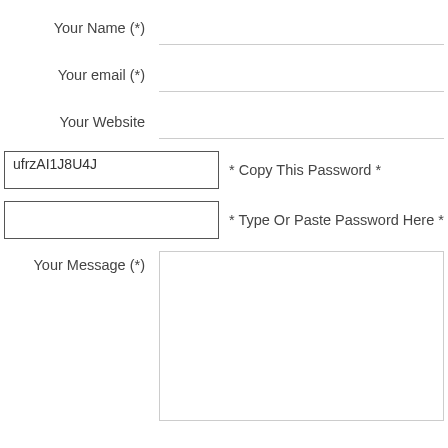Your Name  (*)
Your email  (*)
Your Website
ufrzAI1J8U4J
* Copy This Password *
* Type Or Paste Password Here *
Your Message  (*)